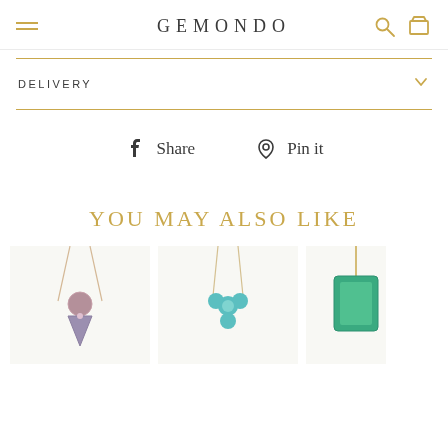GEMONDO
DELIVERY
Share   Pin it
YOU MAY ALSO LIKE
[Figure (photo): Three jewelry necklace product thumbnails partially visible at the bottom of the page]